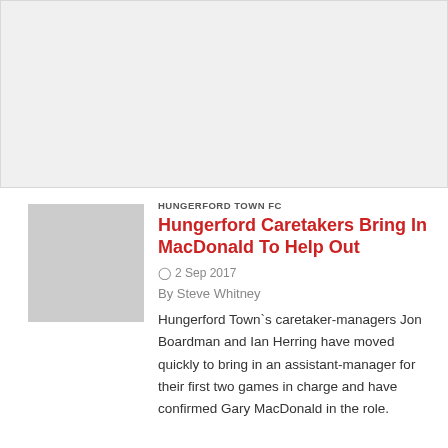[Figure (other): Gray advertisement banner placeholder at top of page]
[Figure (photo): Gray placeholder thumbnail image for article]
HUNGERFORD TOWN FC
Hungerford Caretakers Bring In MacDonald To Help Out
2 Sep 2017
By Steve Whitney
Hungerford Town`s caretaker-managers Jon Boardman and Ian Herring have moved quickly to bring in an assistant-manager for their first two games in charge and have confirmed Gary MacDonald in the role.